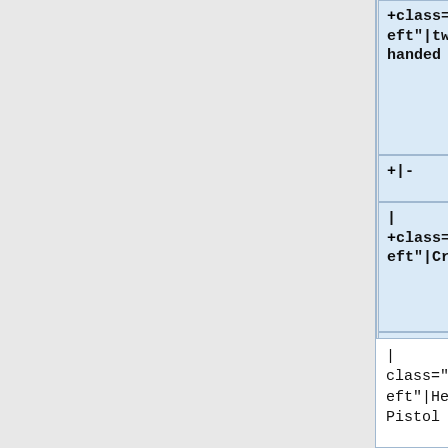class="alignleft"|two-handed
+|-
| class="alignleft"|Crossbow
| class="aligncenter"|2
| class="alignleft"|two-handed
+|-
| class="alignleft"|Heavy Pistol
| class="alignleft"|Heavy Pistol